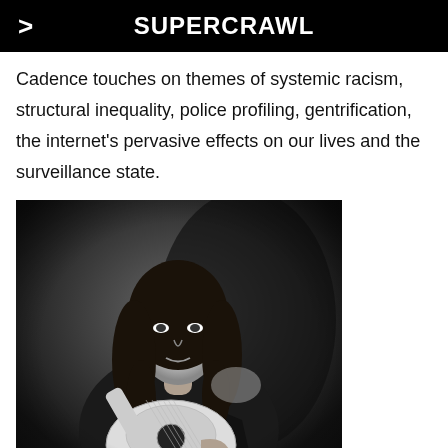SUPERCRAWL
Cadence touches on themes of systemic racism, structural inequality, police profiling, gentrification, the internet's pervasive effects on our lives and the surveillance state.
[Figure (photo): Black and white photograph of a woman with long curly dark hair, wearing a black off-shoulder top, seated in a dark armchair holding an acoustic guitar, looking at the camera with a calm expression. Dark background suggesting a rustic indoor setting.]